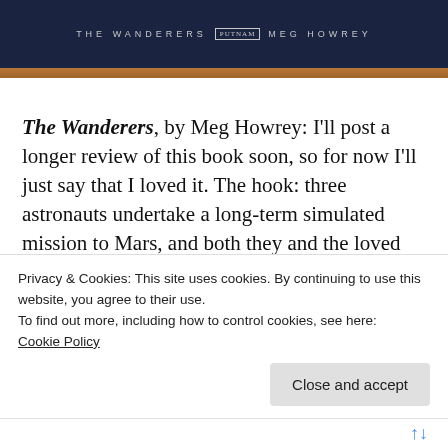[Figure (photo): Book spine of 'The Wanderers' by Meg Howrey shown on a wooden surface. Dark navy blue spine with text 'THE WANDERERS' and 'MEG HOWREY' in light gray letters with a small badge/logo in center.]
The Wanderers, by Meg Howrey: I'll post a longer review of this book soon, so for now I'll just say that I loved it. The hook: three astronauts undertake a long-term simulated mission to Mars, and both they and the loved ones they leave behind struggle with isolation and epiphanies during their experience.
Exit West, by Mohsin Hamid: What a lovely
Privacy & Cookies: This site uses cookies. By continuing to use this website, you agree to their use.
To find out more, including how to control cookies, see here:
Cookie Policy
Close and accept